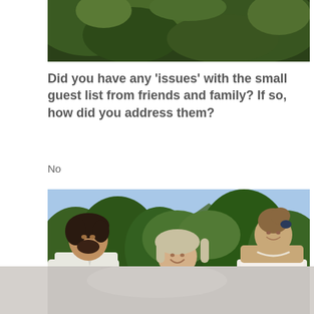[Figure (photo): Top portion of outdoor photo showing green trees and foliage, partially cropped at top of page]
Did you have any ‘issues’ with the small guest list from friends and family? If so, how did you address them?
No
[Figure (photo): Wedding ceremony photo outdoors with mountains and green trees in background. A groom in white shirt on left, female officiant with blonde hair in patterned dress in center, and bride in white strapless dress on right. They appear to be exchanging rings. Photo is partially cut off at bottom.]